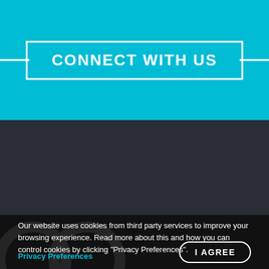CONNECT WITH US
Our website uses cookies from third party services to improve your browsing experience. Read more about this and how you can control cookies by clicking "Privacy Preferences".
Privacy Preferences
I AGREE